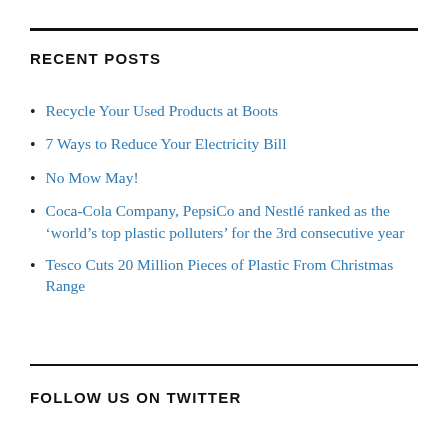RECENT POSTS
Recycle Your Used Products at Boots
7 Ways to Reduce Your Electricity Bill
No Mow May!
Coca-Cola Company, PepsiCo and Nestlé ranked as the ‘world’s top plastic polluters’ for the 3rd consecutive year
Tesco Cuts 20 Million Pieces of Plastic From Christmas Range
FOLLOW US ON TWITTER